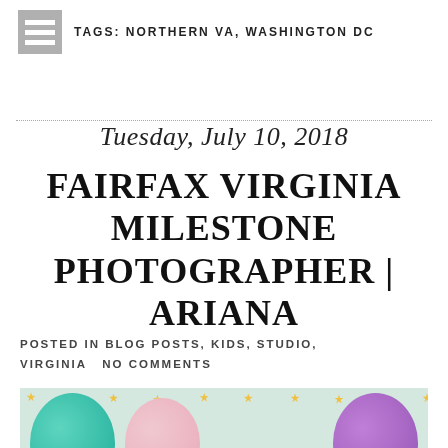TAGS: NORTHERN VA, WASHINGTON DC
Tuesday, July 10, 2018
FAIRFAX VIRGINIA MILESTONE PHOTOGRAPHER | ARIANA
POSTED IN BLOG POSTS, KIDS, STUDIO, VIRGINIA  NO COMMENTS
[Figure (photo): Photo of colorful balloons (teal, pink, purple) against a white background with gold stars, likely a birthday milestone photo session setup.]